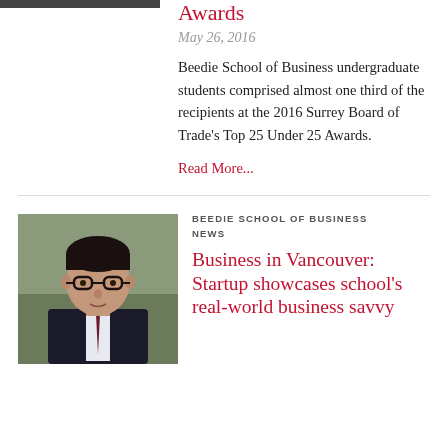[Figure (photo): Partial top image cropped at top of page]
Awards
May 26, 2016
Beedie School of Business undergraduate students comprised almost one third of the recipients at the 2016 Surrey Board of Trade’s Top 25 Under 25 Awards.
Read More...
[Figure (photo): Portrait photo of a young Asian man wearing glasses and a suit with a tie]
BEEDIE SCHOOL OF BUSINESS NEWS
Business in Vancouver: Startup showcases school’s real-world business savvy